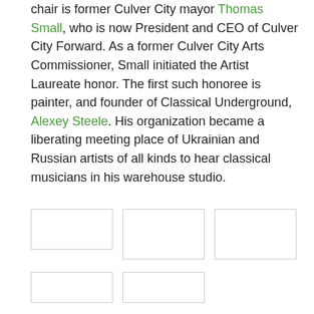chair is former Culver City mayor Thomas Small, who is now President and CEO of Culver City Forward. As a former Culver City Arts Commissioner, Small initiated the Artist Laureate honor. The first such honoree is painter, and founder of Classical Underground, Alexey Steele. His organization became a liberating meeting place of Ukrainian and Russian artists of all kinds to hear classical musicians in his warehouse studio.
[Figure (photo): Placeholder image box 1 (empty/redacted)]
[Figure (photo): Placeholder image box 2 (empty/redacted)]
[Figure (photo): Placeholder image box 3 (empty/redacted)]
[Figure (photo): Placeholder image box 4 (empty/redacted)]
[Figure (photo): Placeholder image box 5 (empty/redacted)]
LRW: I've attended several of Alexey Steel's